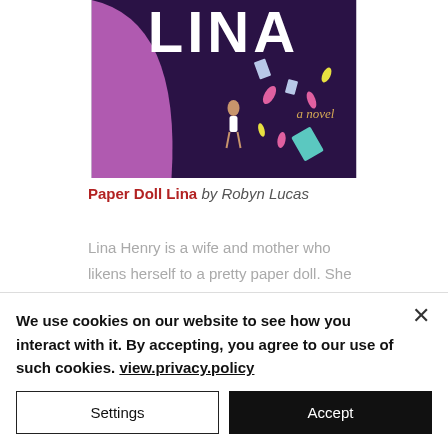[Figure (illustration): Book cover of 'Paper Doll Lina' showing a woman figure in bikini on dark purple background with confetti, clothing items floating, large LINA text at top, and 'a novel' in cursive gold text]
Paper Doll Lina by Robyn Lucas
Lina Henry is a wife and mother who likens herself to a pretty paper doll. She
We use cookies on our website to see how you interact with it. By accepting, you agree to our use of such cookies. view.privacy.policy
Settings
Accept